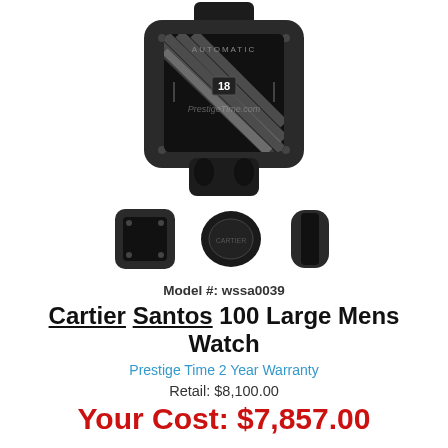[Figure (photo): Large main product photo of a Cartier Santos 100 Large Mens Watch in black with black leather strap, shown from above at slight angle. Watermark 'PrestigeTime.com' visible on dial.]
[Figure (photo): Three thumbnail images of the same watch: front face view, back/caseback view, and side profile view.]
Model #: wssa0039
Cartier Santos 100 Large Mens Watch
Prestige Time 2 Year Warranty
Retail: $8,100.00
Your Cost: $7,857.00